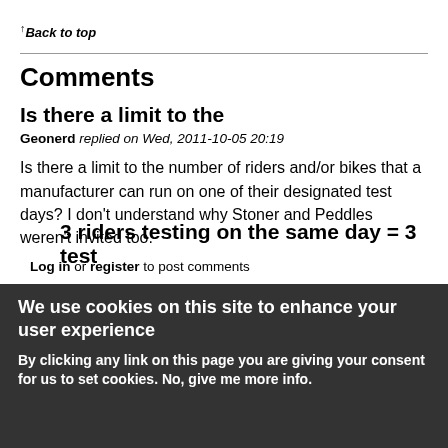↑Back to top
Comments
Is there a limit to the
Geonerd replied on Wed, 2011-10-05 20:19
Is there a limit to the number of riders and/or bikes that a manufacturer can run on one of their designated test days? I don't understand why Stoner and Peddles weren't invited too.
Log in or register to post comments
3 riders testing on the same day = 3 test
We use cookies on this site to enhance your user experience
By clicking any link on this page you are giving your consent for us to set cookies. No, give me more info.